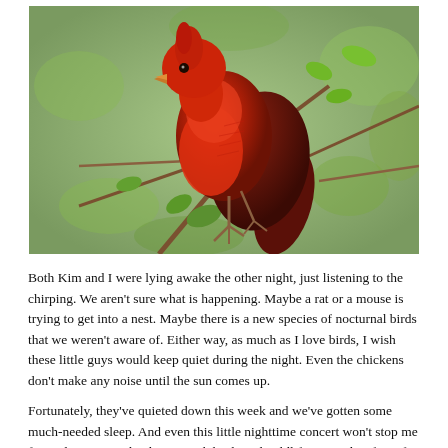[Figure (photo): A close-up photograph of a bright red cardinal bird perched on thin branches with green leaves, shot against a soft blurred green background.]
Both Kim and I were lying awake the other night, just listening to the chirping. We aren't sure what is happening. Maybe a rat or a mouse is trying to get into a nest. Maybe there is a new species of nocturnal birds that we weren't aware of. Either way, as much as I love birds, I wish these little guys would keep quiet during the night. Even the chickens don't make any noise until the sun comes up.
Fortunately, they've quieted down this week and we've gotten some much-needed sleep. And even this little nighttime concert won't stop me from planning my landscape with birds and wildlife in mind. A few of our tips are below. We can't promise that it won't bring birds of the